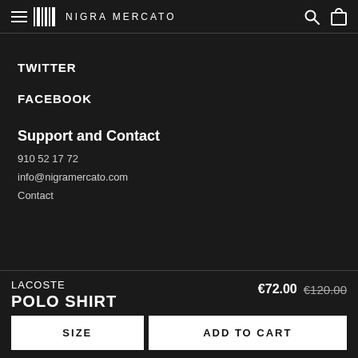NIGRA MERCATO
TWITTER
FACEBOOK
Support and Contact
910 52 17 72
info@nigramercato.com
Contact
LACOSTE
POLO SHIRT
€72.00  €120.00
SIZE
ADD TO CART